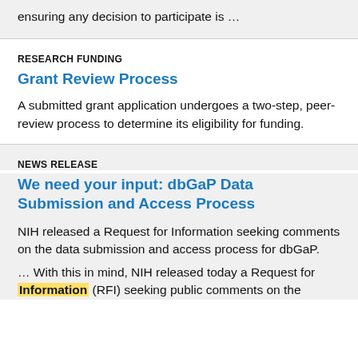ensuring any decision to participate is …
RESEARCH FUNDING
Grant Review Process
A submitted grant application undergoes a two-step, peer-review process to determine its eligibility for funding.
NEWS RELEASE
We need your input: dbGaP Data Submission and Access Process
NIH released a Request for Information seeking comments on the data submission and access process for dbGaP.
… With this in mind, NIH released today a Request for Information (RFI) seeking public comments on the